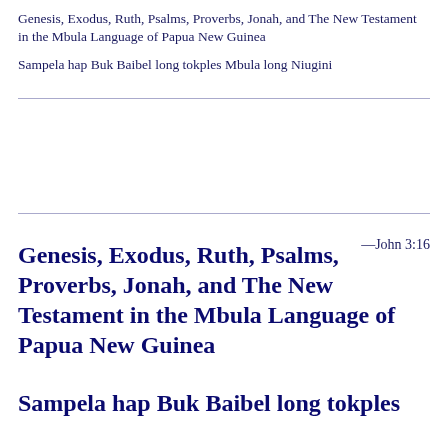Genesis, Exodus, Ruth, Psalms, Proverbs, Jonah, and The New Testament in the Mbula Language of Papua New Guinea
Sampela hap Buk Baibel long tokples Mbula long Niugini
—John 3:16
Genesis, Exodus, Ruth, Psalms, Proverbs, Jonah, and The New Testament in the Mbula Language of Papua New Guinea
Sampela hap Buk Baibel long tokples Mbula long Niugini